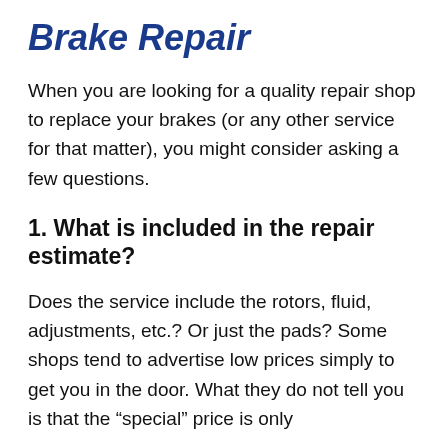Brake Repair
When you are looking for a quality repair shop to replace your brakes (or any other service for that matter), you might consider asking a few questions.
1. What is included in the repair estimate?
Does the service include the rotors, fluid, adjustments, etc.? Or just the pads? Some shops tend to advertise low prices simply to get you in the door. What they do not tell you is that the “special” price is only for a minimum at the blade alone with